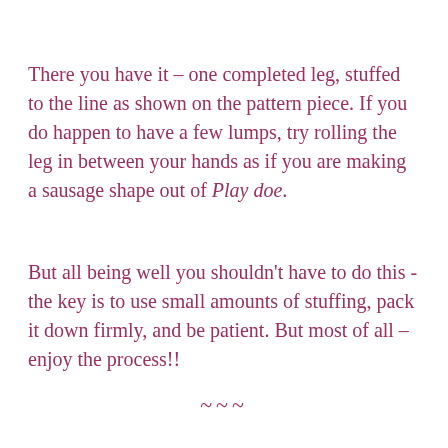There you have it – one completed leg, stuffed to the line as shown on the pattern piece. If you do happen to have a few lumps, try rolling the leg in between your hands as if you are making a sausage shape out of Play doe.
But all being well you shouldn't have to do this - the key is to use small amounts of stuffing, pack it down firmly, and be patient. But most of all – enjoy the process!!
~~~